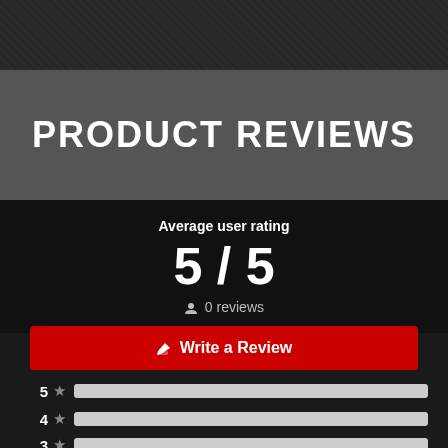PRODUCT REVIEWS
Average user rating
5 / 5
0 reviews
Write a Review
5 ★
4 ★
3 ★